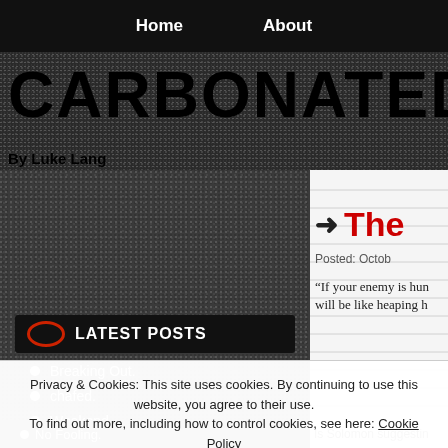Home   About
CARBONATED
By Luke Lang
LATEST POSTS
Breaking Out.
chafed.
Weakend.
The
Posted: Octob
“If your enemy is hun will be like heaping h
Privacy & Cookies: This site uses cookies. By continuing to use this website, you agree to their use.
To find out more, including how to control cookies, see here: Cookie Policy
Close and accept
No Fooling.
Is Solomon suggestin